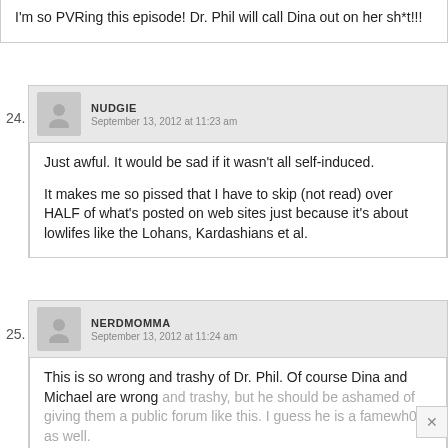I'm so PVRing this episode! Dr. Phil will call Dina out on her sh*t!!!
NUDGIE
September 13, 2012 at 11:23 am
Just awful. It would be sad if it wasn't all self-induced.

It makes me so pissed that I have to skip (not read) over HALF of what's posted on web sites just because it's about lowlifes like the Lohans, Kardashians et al.
NERDMOMMA
September 13, 2012 at 11:24 am
This is so wrong and trashy of Dr. Phil. Of course Dina and Michael are wrong and trashy, but he should be ashamed of giving them a public forum like this. I guess he is a famewh0re as well.